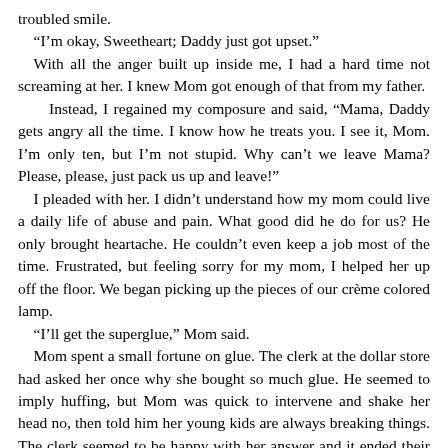troubled smile.
“I’m okay, Sweetheart; Daddy just got upset.”
With all the anger built up inside me, I had a hard time not screaming at her. I knew Mom got enough of that from my father.
Instead, I regained my composure and said, “Mama, Daddy gets angry all the time. I know how he treats you. I see it, Mom. I’m only ten, but I’m not stupid. Why can’t we leave Mama? Please, please, just pack us up and leave!”
I pleaded with her. I didn’t understand how my mom could live a daily life of abuse and pain. What good did he do for us? He only brought heartache. He couldn’t even keep a job most of the time. Frustrated, but feeling sorry for my mom, I helped her up off the floor. We began picking up the pieces of our crème colored lamp.
“I’ll get the superglue,” Mom said.
Mom spent a small fortune on glue. The clerk at the dollar store had asked her once why she bought so much glue. He seemed to imply huffing, but Mom was quick to intervene and shake her head no, then told him her young kids are always breaking things. The clerk seemed to be happy with her answer and it ended their short conversation.
I heard a car horn blazing at me and realized I was actually in my comfortable SUV at the light and it had turned green.